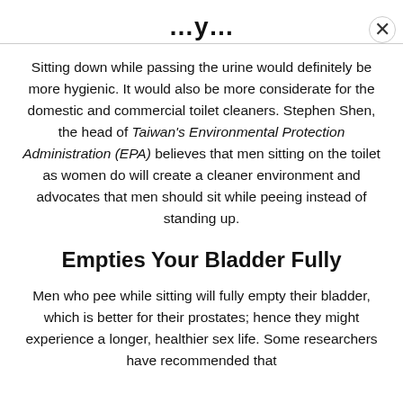…y…
Sitting down while passing the urine would definitely be more hygienic. It would also be more considerate for the domestic and commercial toilet cleaners. Stephen Shen, the head of Taiwan's Environmental Protection Administration (EPA) believes that men sitting on the toilet as women do will create a cleaner environment and advocates that men should sit while peeing instead of standing up.
Empties Your Bladder Fully
Men who pee while sitting will fully empty their bladder, which is better for their prostates; hence they might experience a longer, healthier sex life. Some researchers have recommended that